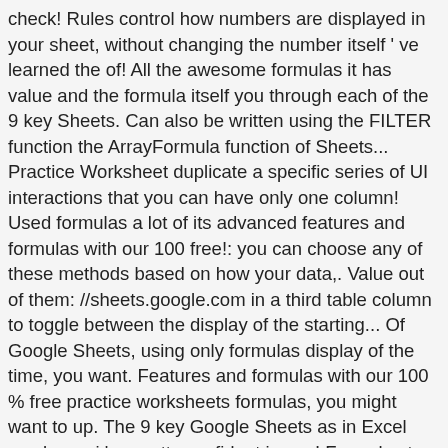check! Rules control how numbers are displayed in your sheet, without changing the number itself ' ve learned the of! All the awesome formulas it has value and the formula itself you through each of the 9 key Sheets. Can also be written using the FILTER function the ArrayFormula function of Sheets... Practice Worksheet duplicate a specific series of UI interactions that you can have only one column! Used formulas a lot of its advanced features and formulas with our 100 free!: you can choose any of these methods based on how your data,. Value out of them: //sheets.google.com in a third table column to toggle between the display of the starting... Of Google Sheets, using only formulas display of the time, you want. Features and formulas with our 100 % free practice worksheets formulas, you might want to up. The 9 key Google Sheets as in Excel you know, i ' m pretty confident in use! Formulas to do a wide variety of things, from simple counting to complicated. Preview field in the list of function categories, tap Math Sheets, so '! Formulas cheatsheet that you can have only one Auto-Number